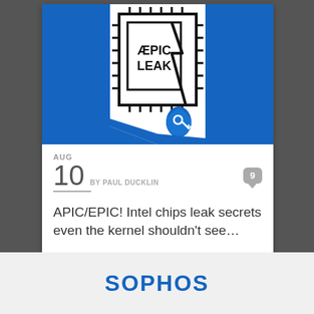[Figure (illustration): ÆPIC LEAK logo: a microchip with a crack/lightning bolt and a water droplet containing a key icon, on a blue and white background]
AUG
10
BY PAUL DUCKLIN
9
APIC/EPIC! Intel chips leak secrets even the kernel shouldn't see…
[Figure (logo): SOPHOS logo in blue text]